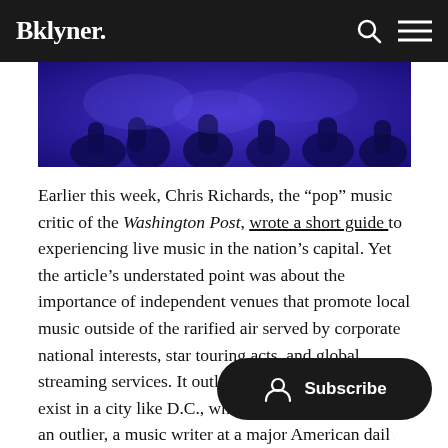Bklyner.
[Figure (photo): Dark blue-toned photo of silhouetted figures at a music event]
Earlier this week, Chris Richards, the “pop” music critic of the Washington Post, wrote a short guide to experiencing live music in the nation’s capital. Yet the article’s understated point was about the importance of independent venues that promote local music outside of the rarified air served by corporate national interests, star touring acts, and global streaming services. It outlined how “local scenes” exist in a city like D.C., which sadly makes Richards an outlier, a music writer at a major American daily in a major American city who consistently pr… and causes.